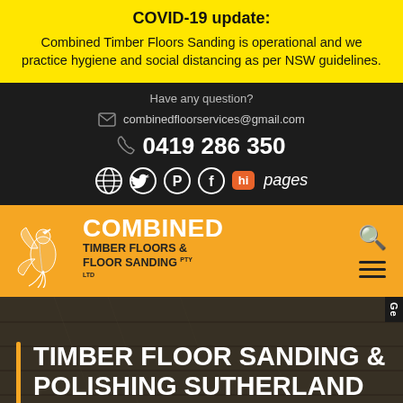COVID-19 update: Combined Timber Floors Sanding is operational and we practice hygiene and social distancing as per NSW guidelines.
Have any question?
combinedfloorservices@gmail.com
0419 286 350
[Figure (logo): Social media icons: globe, Twitter, Pinterest, Facebook, hipages badge]
[Figure (logo): Combined Timber Floors & Floor Sanding PTY LTD logo with bird illustration on orange background]
TIMBER FLOOR SANDING & POLISHING SUTHERLAND SHIRE